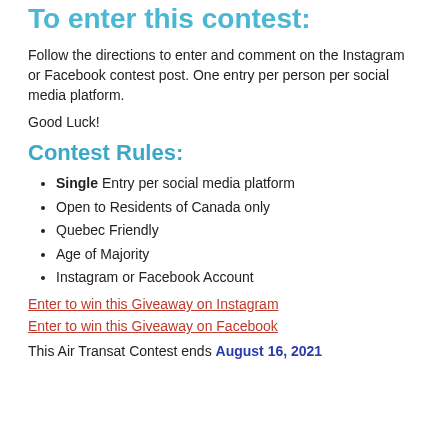To enter this contest:
Follow the directions to enter and comment on the Instagram or Facebook contest post. One entry per person per social media platform.
Good Luck!
Contest Rules:
Single Entry per social media platform
Open to Residents of Canada only
Quebec Friendly
Age of Majority
Instagram or Facebook Account
Enter to win this Giveaway on Instagram
Enter to win this Giveaway on Facebook
This Air Transat Contest ends August 16, 2021